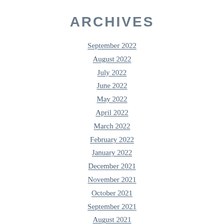ARCHIVES
September 2022
August 2022
July 2022
June 2022
May 2022
April 2022
March 2022
February 2022
January 2022
December 2021
November 2021
October 2021
September 2021
August 2021
July 2021
June 2021
May 2021